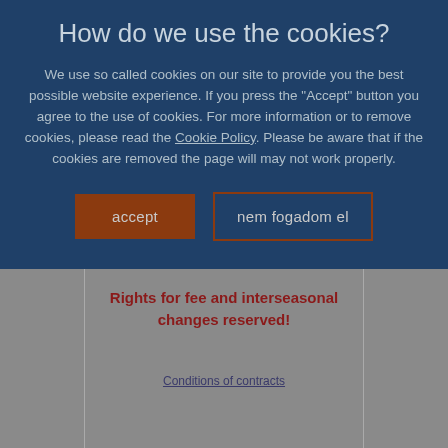How do we use the cookies?
We use so called cookies on our site to provide you the best possible website experience. If you press the "Accept" button you agree to the use of cookies. For more information or to remove cookies, please read the Cookie Policy. Please be aware that if the cookies are removed the page will may not work properly.
accept
nem fogadom el
Rights for fee and interseasonal changes reserved!
Conditions of contracts